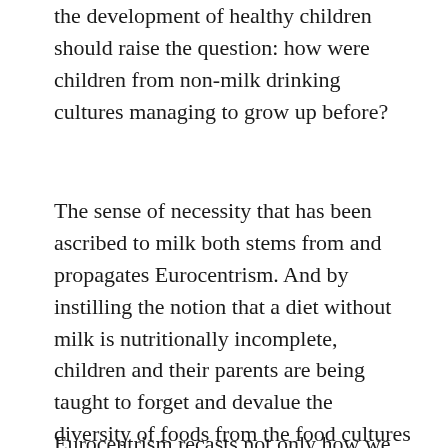the development of healthy children should raise the question: how were children from non-milk drinking cultures managing to grow up before?
The sense of necessity that has been ascribed to milk both stems from and propagates Eurocentrism. And by instilling the notion that a diet without milk is nutritionally incomplete, children and their parents are being taught to forget and devalue the diversity of foods from the food cultures they come from–at the same time that these are being lost under the expansion of a globalized corporate food regime. If a diet without milk as lacking, then many traditional non-Western diets are inherently deficient. This is a message that is repeatedly conveyed in the marketing of milk to children.
Eurocentrism recasts not only how we read human